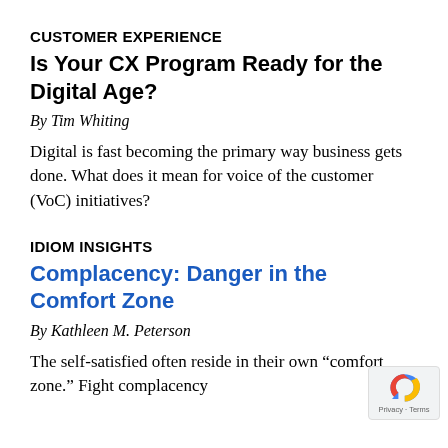CUSTOMER EXPERIENCE
Is Your CX Program Ready for the Digital Age?
By Tim Whiting
Digital is fast becoming the primary way business gets done. What does it mean for voice of the customer (VoC) initiatives?
IDIOM INSIGHTS
Complacency: Danger in the Comfort Zone
By Kathleen M. Peterson
The self-satisfied often reside in their own “comfort zone.” Fight complacency